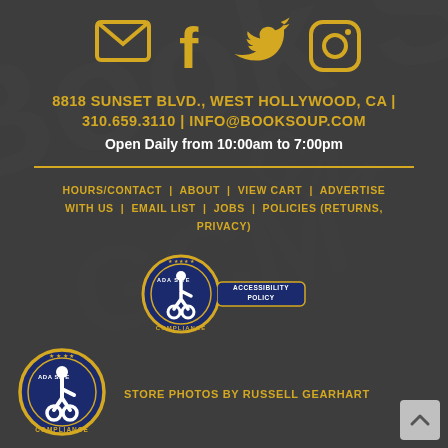[Figure (illustration): Social media icons row: envelope/email, Facebook, Twitter, Instagram in gold color on dark background]
8818 SUNSET BLVD., WEST HOLLYWOOD, CA | 310.659.3110 | INFO@BOOKSOUP.COM
Open Daily from 10:00am to 7:00pm
HOURS/CONTACT | ABOUT | VIEW CART | ADVERTISE WITH US | EMAIL LIST | JOBS | POLICIES (RETURNS, PRIVACY)
[Figure (logo): ADA Site Compliance badge with accessibility policy button]
[Figure (logo): ADA Site Compliance badge (large, bottom left)]
STORE PHOTOS BY RUSSELL GEARHART